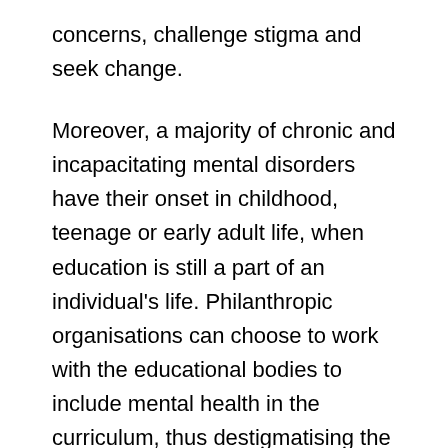concerns, challenge stigma and seek change.
Moreover, a majority of chronic and incapacitating mental disorders have their onset in childhood, teenage or early adult life, when education is still a part of an individual's life. Philanthropic organisations can choose to work with the educational bodies to include mental health in the curriculum, thus destigmatising the issue and providing a platform for the youth to seek help.
Mental illnesses contribute to a significant loss of productivity among the workforce. Philanthropic